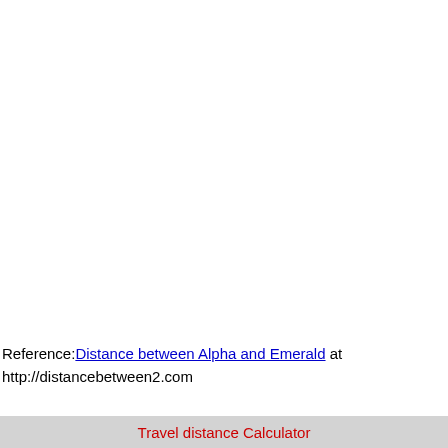Reference: Distance between Alpha and Emerald at http://distancebetween2.com
Travel distance Calculator